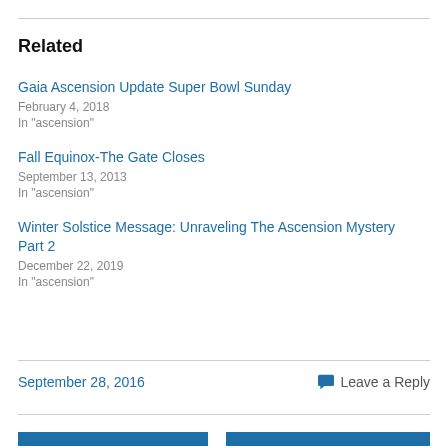Related
Gaia Ascension Update Super Bowl Sunday
February 4, 2018
In "ascension"
Fall Equinox-The Gate Closes
September 13, 2013
In "ascension"
Winter Solstice Message: Unraveling The Ascension Mystery Part 2
December 22, 2019
In "ascension"
September 28, 2016
Leave a Reply